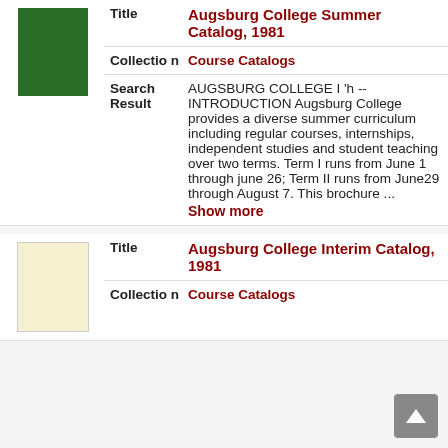[Figure (photo): Thumbnail of Augsburg College Summer Catalog 1981, green cover]
Title
Augsburg College Summer Catalog, 1981
Collection
Course Catalogs
Search Result
AUGSBURG COLLEGE I 'h -- INTRODUCTION Augsburg College provides a diverse summer curriculum including regular courses, internships, independent studies and student teaching over two terms. Term I runs from June 1 through june 26; Term II runs from June29 through August 7. This brochure ... Show more
[Figure (photo): Thumbnail of Augsburg College Interim Catalog 1981, cream/yellow cover]
Title
Augsburg College Interim Catalog, 1981
Collection
Course Catalogs